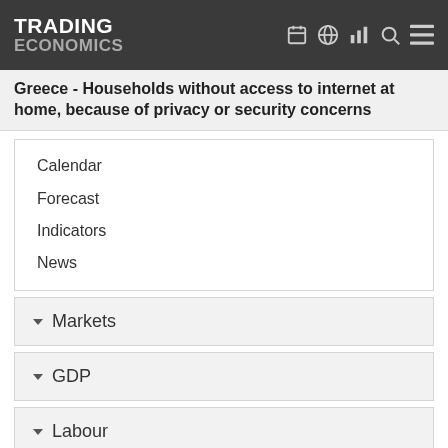TRADING ECONOMICS
Greece - Households without access to internet at home, because of privacy or security concerns
Calendar
Forecast
Indicators
News
Markets
GDP
Labour
Prices
Health